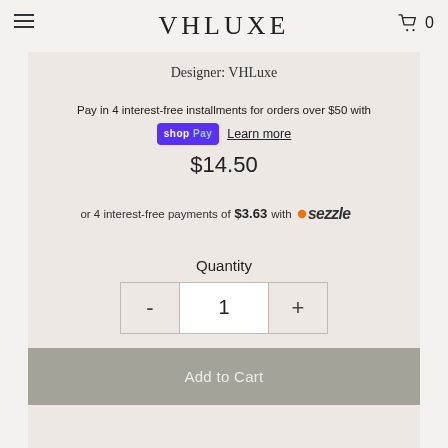VHLUXE
Designer: VHLuxe
Pay in 4 interest-free installments for orders over $50 with shop Pay  Learn more
$14.50
or 4 interest-free payments of $3.63 with Sezzle
Quantity
- 1 +
Add to Cart